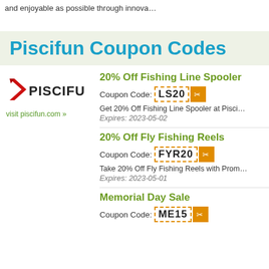and enjoyable as possible through innova…
Piscifun Coupon Codes
[Figure (logo): Piscifun brand logo with red arrow/diamond and bold PISCIFUN text]
visit piscifun.com »
20% Off Fishing Line Spooler
Coupon Code: LS20
Get 20% Off Fishing Line Spooler at Pisci…
Expires: 2023-05-02
20% Off Fly Fishing Reels
Coupon Code: FYR20
Take 20% Off Fly Fishing Reels with Prom…
Expires: 2023-05-01
Memorial Day Sale
Coupon Code: ME15